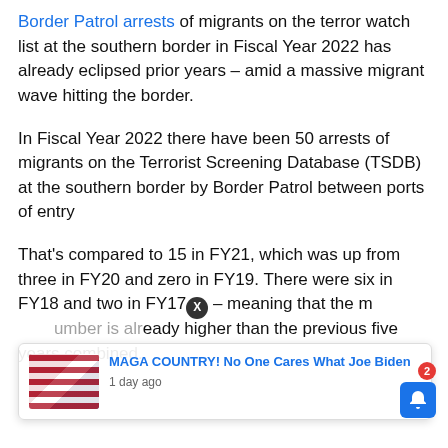Border Patrol arrests of migrants on the terror watch list at the southern border in Fiscal Year 2022 has already eclipsed prior years – amid a massive migrant wave hitting the border.
In Fiscal Year 2022 there have been 50 arrests of migrants on the Terrorist Screening Database (TSDB) at the southern border by Border Patrol between ports of entry
That's compared to 15 in FY21, which was up from three in FY20 and zero in FY19. There were six in FY18 and two in FY17 – meaning that the number is already higher than the previous five years combined.